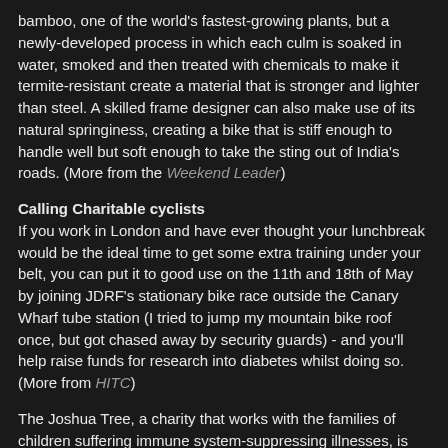bamboo, one of the world's fastest-growing plants, but a newly-developed process in which each culm is soaked in water, smoked and then treated with chemicals to make it termite-resistant create a material that is stronger and lighter than steel. A skilled frame designer can also make use of its natural springiness, creating a bike that is stiff enough to handle well but soft enough to take the sting out of India's roads. (More from the Weekend Leader)
Calling Charitable cyclists
If you work in London and have ever thought your lunchbreak would be the ideal time to get some extra training under your belt, you can put it to good use on the 11th and 18th of May by joining JDRF's stationary bike race outside the Canary Wharf tube station (I tried to jump my mountain bike roof once, but got chased away by security guards) - and you'll help raise funds for research into diabetes whilst doing so. (More from HITC)
The Joshua Tree, a charity that works with the families of children suffering immune system-suppressing illnesses, is running a Land's End to John O'Groats In A Day fundraiser